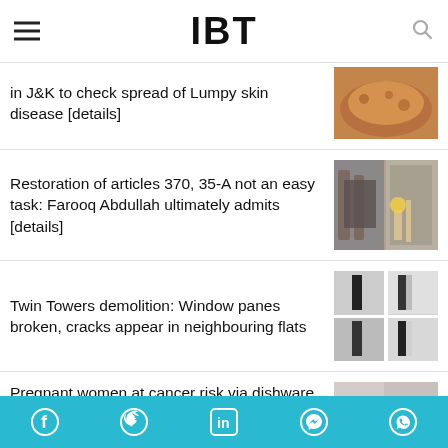IBT
in J&K to check spread of Lumpy skin disease [details]
Restoration of articles 370, 35-A not an easy task: Farooq Abdullah ultimately admits [details]
Twin Towers demolition: Window panes broken, cracks appear in neighbouring flats
Pregnant women at cancer risk via dishware, hair colouring, plastics, mascara, tattoo ink [Details]
Social media icons: Facebook, Twitter, LinkedIn, Messenger, WhatsApp